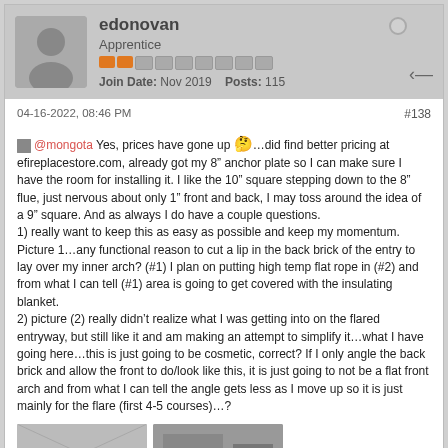edonovan — Apprentice — Join Date: Nov 2019 Posts: 115
04-16-2022, 08:46 PM    #138
@mongota Yes, prices have gone up 🤔…did find better pricing at efireplacestore.com, already got my 8" anchor plate so I can make sure I have the room for installing it. I like the 10" square stepping down to the 8" flue, just nervous about only 1" front and back, I may toss around the idea of a 9" square. And as always I do have a couple questions.
1) really want to keep this as easy as possible and keep my momentum. Picture 1…any functional reason to cut a lip in the back brick of the entry to lay over my inner arch? (#1) I plan on putting high temp flat rope in (#2) and from what I can tell (#1) area is going to get covered with the insulating blanket.
2) picture (2) really didn't realize what I was getting into on the flared entryway, but still like it and am making an attempt to simplify it…what I have going here…this is just going to be cosmetic, correct? If I only angle the back brick and allow the front to do/look like this, it is just going to not be a flat front arch and from what I can tell the angle gets less as I move up so it is just mainly for the flare (first 4-5 courses)…?
[Figure (photo): Photo thumbnail 1 - gray/white textured surface]
[Figure (photo): Photo thumbnail 2 - construction/brick image]
2 Photos